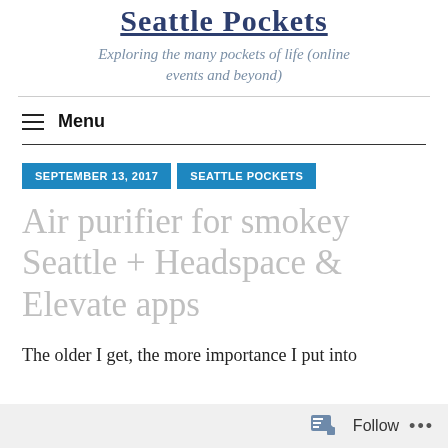Seattle Pockets
Exploring the many pockets of life (online events and beyond)
Menu
SEPTEMBER 13, 2017   SEATTLE POCKETS
Air purifier for smokey Seattle + Headspace & Elevate apps
The older I get, the more importance I put into